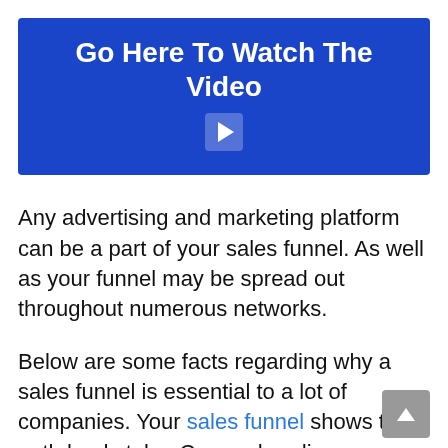[Figure (other): Blue banner with text 'Go Here To Watch The Video' and a play button icon]
Any advertising and marketing platform can be a part of your sales funnel. As well as your funnel may be spread out throughout numerous networks.
Below are some facts regarding why a sales funnel is essential to a lot of companies. Your sales funnel shows the path leads take. Comprehending your funnel can assist you to find the openings in the funnel. The places